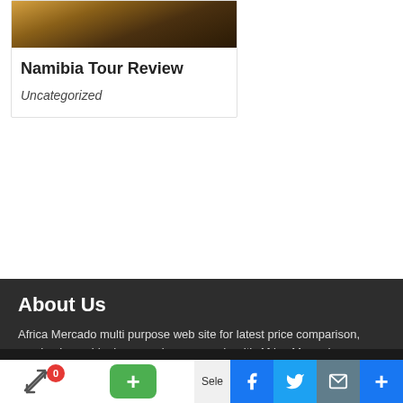[Figure (photo): Warm golden-brown toned image at the top of a card, appears to be a landscape or nature photo with amber/orange tones]
Namibia Tour Review
Uncategorized
About Us
Africa Mercado multi purpose web site for latest price comparison, purchasing guide. buy or sale your goods with Africa Mercado
Create your Owen online store and start sales and buy on line from home.
[Figure (other): Country flags row: Ethiopia, possibly Arabic/green flag, China, UK, France, and another flag. Bottom toolbar with social media icons: Facebook, Twitter, email/mail, and plus buttons.]